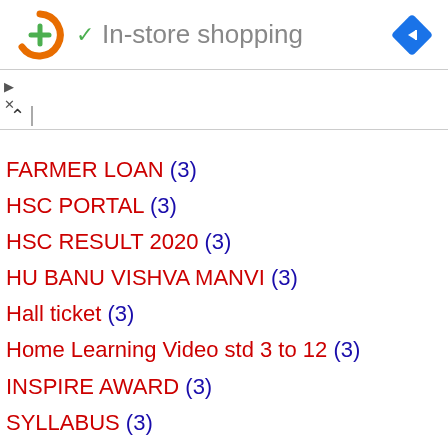[Figure (screenshot): Ad banner with orange circular logo with green plus sign, green checkmark, 'In-store shopping' text, and blue diamond navigation icon on right]
FARMER LOAN (3)
HSC PORTAL (3)
HSC RESULT 2020 (3)
HU BANU VISHVA MANVI (3)
Hall ticket (3)
Home Learning Video std 3 to 12 (3)
INSPIRE AWARD (3)
SYLLABUS (3)
election result (3)
modi govermant 2.0 (3)
pm kishan (3)
police result (3)
BIN SACHIVALY (2)
BIRD VOICE TECHNO (2)